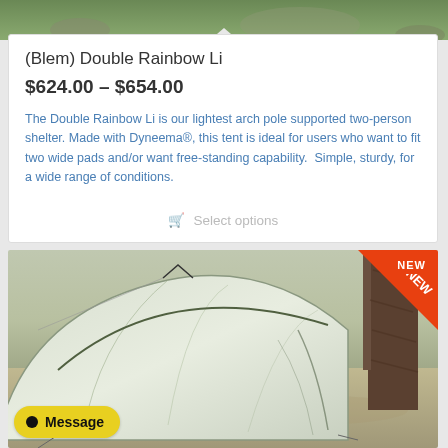[Figure (photo): Top portion of an outdoor tent/camp scene with trees and rocks visible]
(Blem) Double Rainbow Li
$624.00 – $654.00
The Double Rainbow Li is our lightest arch pole supported two-person shelter. Made with Dyneema®, this tent is ideal for users who want to fit two wide pads and/or want free-standing capability.  Simple, sturdy, for a wide range of conditions.
Select options
[Figure (photo): Outdoor tent (light greenish/silver color) set up in a rocky alpine meadow with a tree trunk visible on the right. A red 'NEW' badge is in the top-right corner.]